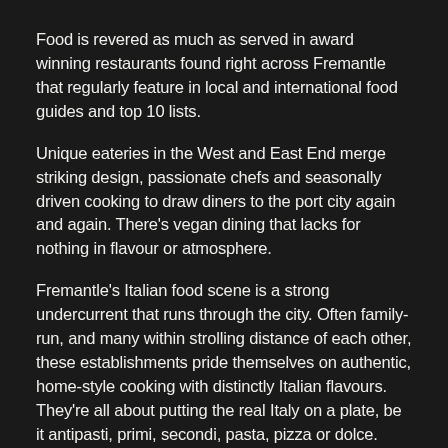Food is revered as much as served in award winning restaurants found right across Fremantle that regularly feature in local and international food guides and top 10 lists.
Unique eateries in the West and East End merge striking design, passionate chefs and seasonally driven cooking to draw diners to the port city again and again. There's vegan dining that lacks for nothing in flavour or atmosphere.
Fremantle's Italian food scene is a strong undercurrent that runs through the city. Often family-run, and many within strolling distance of each other, these establishments pride themselves on authentic, home-style cooking with distinctly Italian flavours. They're all about putting the real Italy on a plate, be it antipasti, primi, secondi, pasta, pizza or dolce.
Restaurants lining the boardwalks and overlooking Fremantle Fishing Boat Harbour serve fresh-off-the-boat